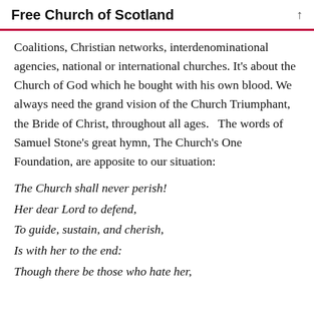Free Church of Scotland
Coalitions, Christian networks, interdenominational agencies, national or international churches. It’s about the Church of God which he bought with his own blood. We always need the grand vision of the Church Triumphant, the Bride of Christ, throughout all ages.   The words of Samuel Stone’s great hymn, The Church’s One Foundation, are apposite to our situation:
The Church shall never perish!
Her dear Lord to defend,
To guide, sustain, and cherish,
Is with her to the end:
Though there be those who hate her,